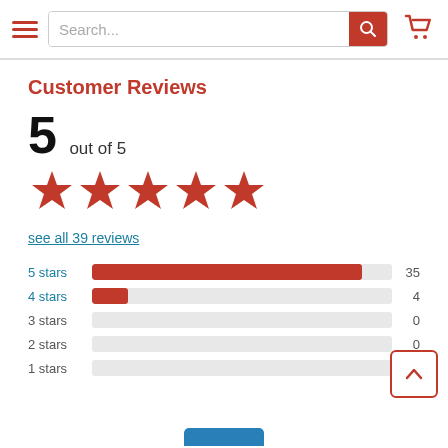Search...
Customer Reviews
5 out of 5
[Figure (other): Five red stars indicating 5-star rating]
see all 39 reviews
[Figure (bar-chart): Star rating distribution]